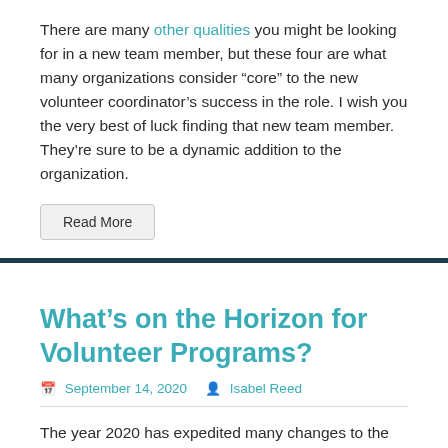There are many other qualities you might be looking for in a new team member, but these four are what many organizations consider “core” to the new volunteer coordinator’s success in the role. I wish you the very best of luck finding that new team member. They’re sure to be a dynamic addition to the organization.
Read More
What’s on the Horizon for Volunteer Programs?
September 14, 2020   Isabel Reed
The year 2020 has expedited many changes to the